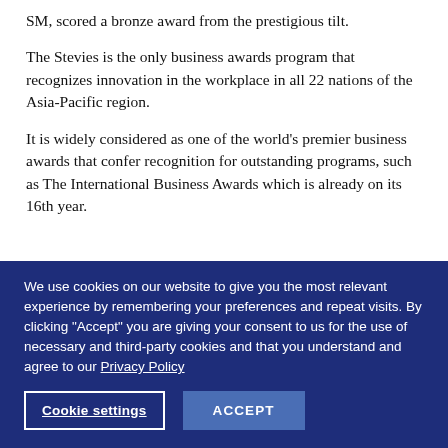SM, scored a bronze award from the prestigious tilt.
The Stevies is the only business awards program that recognizes innovation in the workplace in all 22 nations of the Asia-Pacific region.
It is widely considered as one of the world's premier business awards that confer recognition for outstanding programs, such as The International Business Awards which is already on its 16th year.
We use cookies on our website to give you the most relevant experience by remembering your preferences and repeat visits. By clicking "Accept" you are giving your consent to us for the use of necessary and third-party cookies and that you understand and agree to our Privacy Policy
Cookie settings | ACCEPT